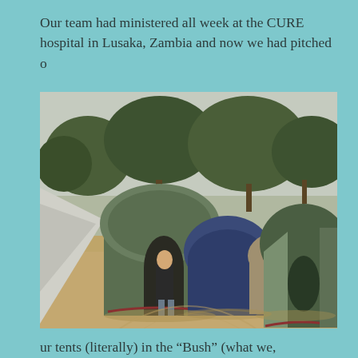Our team had ministered all week at the CURE hospital in Lusaka, Zambia and now we had pitched o
[Figure (photo): A campsite in an African bush setting with multiple dome tents arranged on sandy ground, surrounded by trees. A person stands in the entrance of one of the green tents.]
ur tents (literally) in the “Bush” (what we, Americans, fondly call – “the Boondocks!”).
I didn’t know it then but these two days would hold